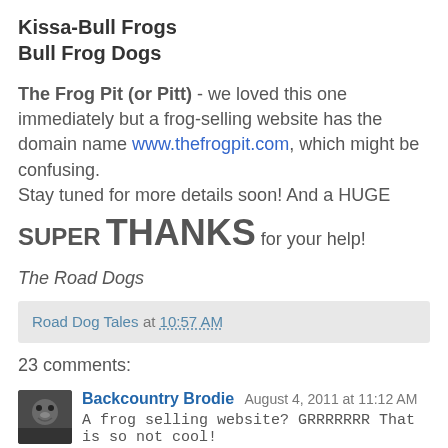Kissa-Bull Frogs
Bull Frog Dogs
The Frog Pit (or Pitt) - we loved this one immediately but a frog-selling website has the domain name www.thefrogpit.com, which might be confusing.
Stay tuned for more details soon! And a HUGE SUPER THANKS for your help!
The Road Dogs
Road Dog Tales at 10:57 AM
23 comments:
Backcountry Brodie August 4, 2011 at 11:12 AM
A frog selling website? GRRRRRRR That is so not cool!